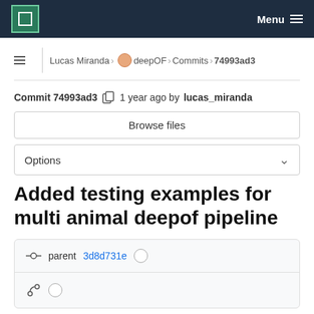MPCDF Menu
Lucas Miranda > deepOF > Commits > 74993ad3
Commit 74993ad3  1 year ago by lucas_miranda
Browse files
Options
Added testing examples for multi animal deepof pipeline
parent 3d8d731e